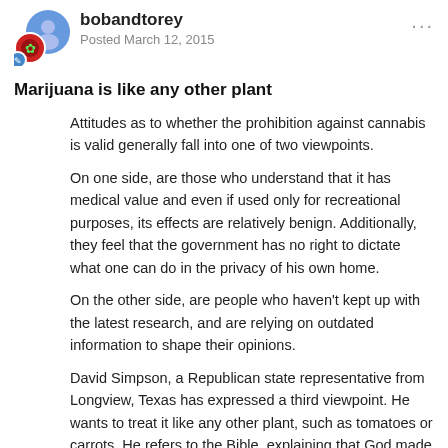bobandtorey
Posted March 12, 2015
Marijuana is like any other plant
Attitudes as to whether the prohibition against cannabis is valid generally fall into one of two viewpoints.
On one side, are those who understand that it has medical value and even if used only for recreational purposes, its effects are relatively benign. Additionally, they feel that the government has no right to dictate what one can do in the privacy of his own home.
On the other side, are people who haven't kept up with the latest research, and are relying on outdated information to shape their opinions.
David Simpson, a Republican state representative from Longview, Texas has expressed a third viewpoint. He wants to treat it like any other plant, such as tomatoes or carrots. He refers to the Bible, explaining that God made all the plants on earth, and he wonders if we really believe that God messed up and states "God made it and it really exists, but that..."